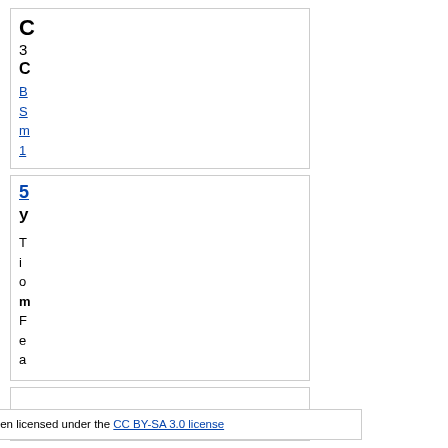C 3 C
B S m 1
5 y
T i o m F e a
List of Different Types of Airplanes in the World makes use of Wikipedia data and texts. This (except for the referenced facts, articles) has been licensed under the CC BY-SA 3.0 license